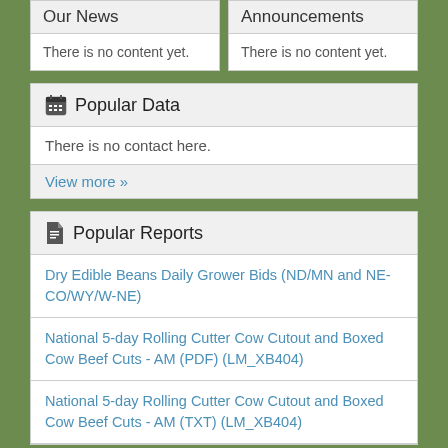Our News
There is no content yet.
Announcements
There is no content yet.
Popular Data
There is no contact here.
View more »
Popular Reports
Dry Edible Beans Daily Grower Bids (ND/MN and NE-CO/WY/W-NE)
National 5-day Rolling Cutter Cow Cutout and Boxed Cow Beef Cuts - AM (PDF) (LM_XB404)
National 5-day Rolling Cutter Cow Cutout and Boxed Cow Beef Cuts - AM (TXT) (LM_XB404)